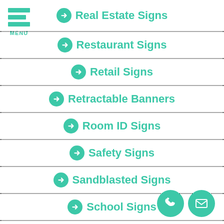MENU
Real Estate Signs
Restaurant Signs
Retail Signs
Retractable Banners
Room ID Signs
Safety Signs
Sandblasted Signs
School Signs